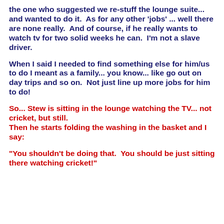the one who suggested we re-stuff the lounge suite... and wanted to do it.  As for any other 'jobs' ... well there are none really.  And of course, if he really wants to watch tv for two solid weeks he can.  I'm not a slave driver.
When I said I needed to find something else for him/us to do I meant as a family... you know... like go out on day trips and so on.  Not just line up more jobs for him to do!
So... Stew is sitting in the lounge watching the TV... not cricket, but still.
Then he starts folding the washing in the basket and I say:
"You shouldn't be doing that.  You should be just sitting there watching cricket!"